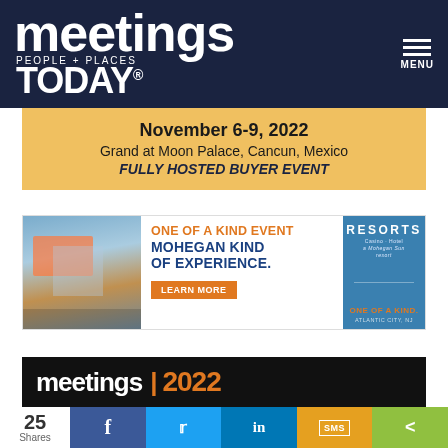meetings PEOPLE + PLACES TODAY® MENU
November 6-9, 2022
Grand at Moon Palace, Cancun, Mexico
FULLY HOSTED BUYER EVENT
[Figure (infographic): Advertisement for Resorts Casino Hotel Atlantic City NJ: 'ONE OF A KIND EVENT MOHEGAN KIND OF EXPERIENCE. LEARN MORE' with photo of Atlantic City boardwalk and Resorts logo]
[Figure (screenshot): Bottom banner showing 'meetings 2022' promo strip in dark background]
25 Shares | Facebook | Twitter | LinkedIn | SMS | Share